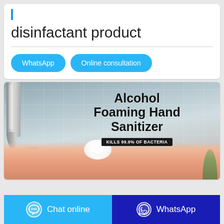disinfactant product
WhatsApp | Online consultation
[Figure (photo): Product promotional banner for Alcohol Foaming Hand Sanitizer showing a faucet, a hand receiving foam sanitizer, with text overlay 'Alcohol Foaming Hand Sanitizer' and badge 'KILLS 99.9% OF BACTERIA']
Chat online | WhatsApp